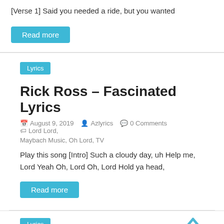[Verse 1] Said you needed a ride, but you wanted
Read more
Lyrics
Rick Ross – Fascinated Lyrics
August 9, 2019   Azlyrics   0 Comments   Lord Lord, Maybach Music, Oh Lord, TV
Play this song [Intro] Such a cloudy day, uh Help me, Lord Yeah Oh, Lord Oh, Lord Hold ya head,
Read more
Lyrics